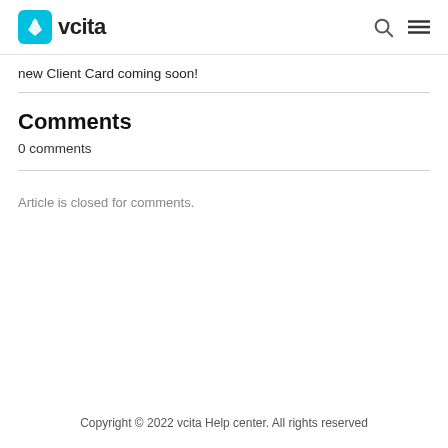vcita
new Client Card coming soon!
Comments
0 comments
Article is closed for comments.
Copyright © 2022 vcita Help center. All rights reserved